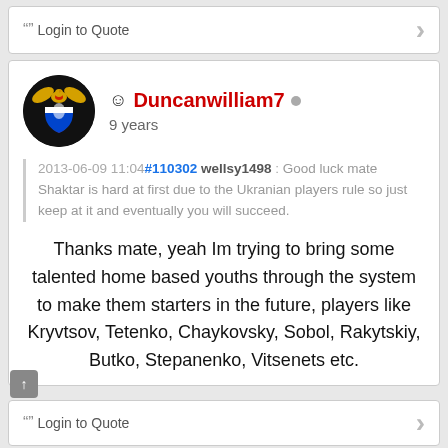❝❞ Login to Quote
Duncanwilliam7
9 years
2013-06-09 11:04#110302 wellsy1498 : Good luck mate Shaktar is hard at first due to the Ukranian players rule so just keep at it and eventually you will succeed.
Thanks mate, yeah Im trying to bring some talented home based youths through the system to make them starters in the future, players like Kryvtsov, Tetenko, Chaykovsky, Sobol, Rakytskiy, Butko, Stepanenko, Vitsenets etc.
❝❞ Login to Quote